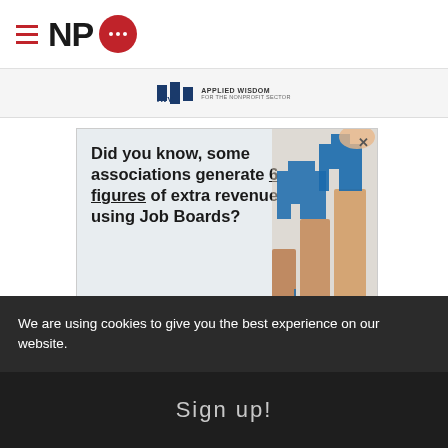NPQ logo with hamburger menu
[Figure (logo): NPQ (Nonprofit Quarterly) logo with red hamburger lines, black NP text, and red circular speech bubble with white dots]
[Figure (screenshot): AVV Applied Wisdom for the Nonprofit Sector advertisement banner strip]
[Figure (infographic): Advertisement: Did you know, some associations generate 6 figures of extra revenue using Job Boards? With wooden block arrows illustration on right side. X close button in top right corner.]
We are using cookies to give you the best experience on our website.
Sign up!